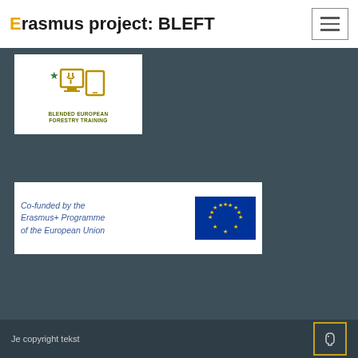Erasmus project: BLEFT
[Figure (logo): BLEFT project logo showing a computer monitor and tablet icon in gold/green with text BLENDED EUROPEAN FORESTRY TRAINING]
[Figure (logo): Co-funded by the Erasmus+ Programme of the European Union banner with EU flag]
Je copyright tekst